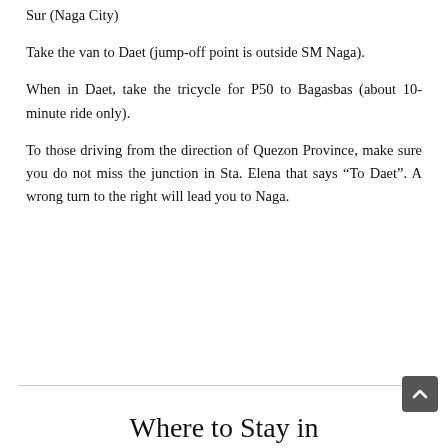Sur (Naga City)
Take the van to Daet (jump-off point is outside SM Naga).
When in Daet, take the tricycle for P50 to Bagasbas (about 10-minute ride only).
To those driving from the direction of Quezon Province, make sure you do not miss the junction in Sta. Elena that says “To Daet”. A wrong turn to the right will lead you to Naga.
Where to Stay in